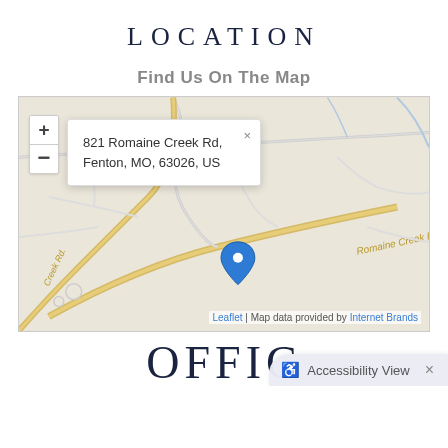LOCATION
Find Us On The Map
[Figure (map): Interactive map showing location at 821 Romaine Creek Rd, Fenton, MO, 63026, US. Map has zoom controls (+ and −), a blue location pin marker, and a popup with the address. Street labeled 'Romaine Creek Rd.' visible. Map attribution: Leaflet | Map data provided by Internet Brands.]
OFFIC